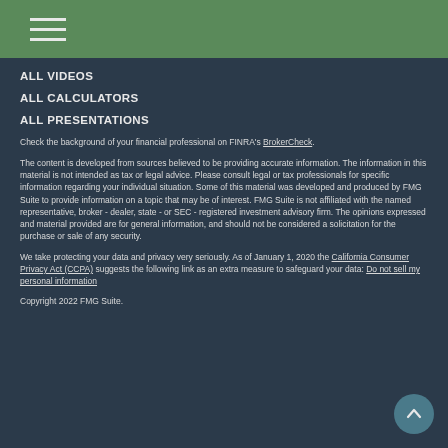Navigation menu icon (hamburger)
ALL VIDEOS
ALL CALCULATORS
ALL PRESENTATIONS
Check the background of your financial professional on FINRA's BrokerCheck.
The content is developed from sources believed to be providing accurate information. The information in this material is not intended as tax or legal advice. Please consult legal or tax professionals for specific information regarding your individual situation. Some of this material was developed and produced by FMG Suite to provide information on a topic that may be of interest. FMG Suite is not affiliated with the named representative, broker - dealer, state - or SEC - registered investment advisory firm. The opinions expressed and material provided are for general information, and should not be considered a solicitation for the purchase or sale of any security.
We take protecting your data and privacy very seriously. As of January 1, 2020 the California Consumer Privacy Act (CCPA) suggests the following link as an extra measure to safeguard your data: Do not sell my personal information
Copyright 2022 FMG Suite.